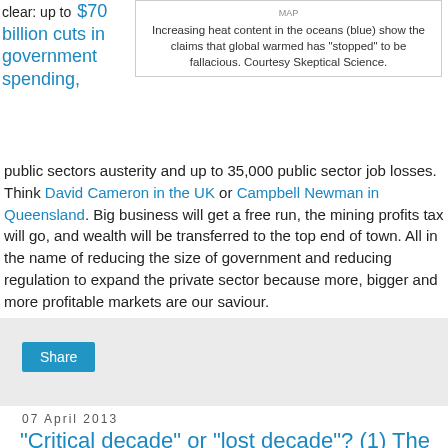clear: up to $70 billion cuts in government spending,
Increasing heat content in the oceans (blue) show the claims that global warmed has "stopped" to be fallacious. Courtesy Skeptical Science.
public sectors austerity and up to 35,000 public sector job losses. Think David Cameron in the UK or Campbell Newman in Queensland. Big business will get a free run, the mining profits tax will go, and wealth will be transferred to the top end of town. All in the name of reducing the size of government and reducing regulation to expand the private sector because more, bigger and more profitable markets are our saviour.
Share
07 April 2013
“Critical decade” or “lost decade”? (1) The conservative tide